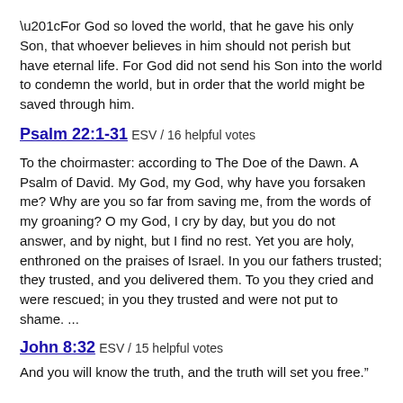“For God so loved the world, that he gave his only Son, that whoever believes in him should not perish but have eternal life. For God did not send his Son into the world to condemn the world, but in order that the world might be saved through him.
Psalm 22:1-31 ESV / 16 helpful votes
To the choirmaster: according to The Doe of the Dawn. A Psalm of David. My God, my God, why have you forsaken me? Why are you so far from saving me, from the words of my groaning? O my God, I cry by day, but you do not answer, and by night, but I find no rest. Yet you are holy, enthroned on the praises of Israel. In you our fathers trusted; they trusted, and you delivered them. To you they cried and were rescued; in you they trusted and were not put to shame. ...
John 8:32 ESV / 15 helpful votes
And you will know the truth, and the truth will set you free.”